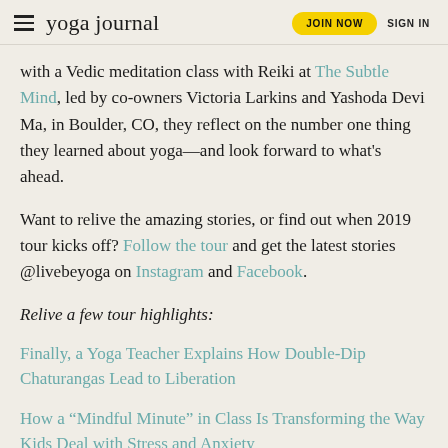yoga journal | JOIN NOW | SIGN IN
with a Vedic meditation class with Reiki at The Subtle Mind, led by co-owners Victoria Larkins and Yashoda Devi Ma, in Boulder, CO, they reflect on the number one thing they learned about yoga—and look forward to what's ahead.
Want to relive the amazing stories, or find out when 2019 tour kicks off? Follow the tour and get the latest stories @livebeyoga on Instagram and Facebook.
Relive a few tour highlights:
Finally, a Yoga Teacher Explains How Double-Dip Chaturangas Lead to Liberation
How a “Mindful Minute” in Class Is Transforming the Way Kids Deal with Stress and Anxiety